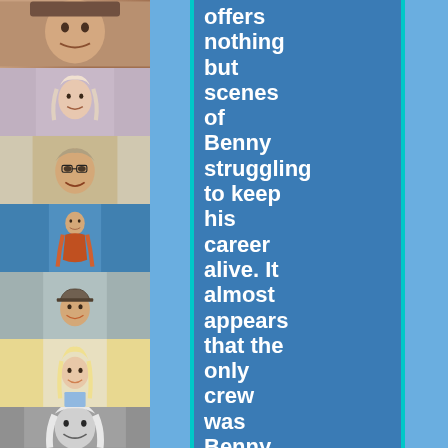[Figure (photo): Strip of six portrait photos of various people including comedic performers and attractive women, arranged vertically on the left side of the page]
offers nothing but scenes of Benny struggling to keep his career alive. It almost appears that the only crew was Benny and Dennis Kirkland and one camera. (Indeed,